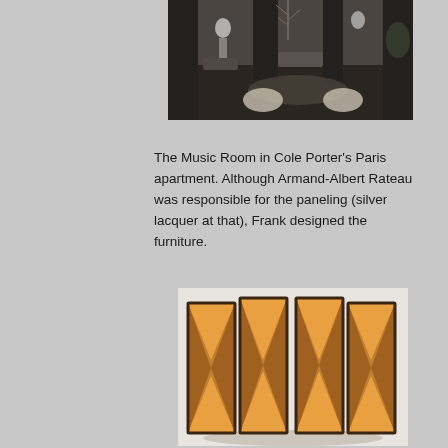[Figure (photo): Black and white photograph of The Music Room in Cole Porter's Paris apartment, showing an elegant interior with furniture and lighting.]
The Music Room in Cole Porter's Paris apartment. Although Armand-Albert Rateau was responsible for the paneling (silver lacquer at that), Frank designed the furniture.
[Figure (photo): Color photograph of a decorative folding screen with four panels featuring a starburst/sunburst wood veneer pattern in warm golden-brown tones with dark borders.]